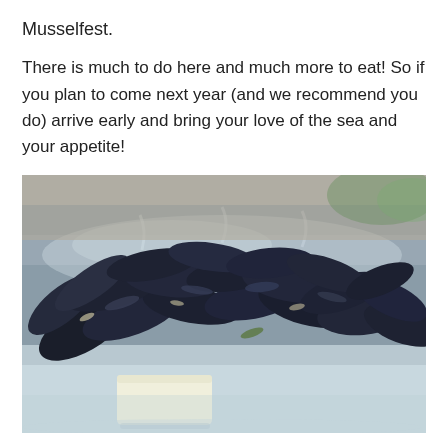Musselfest.
There is much to do here and much more to eat! So if you plan to come next year (and we recommend you do) arrive early and bring your love of the sea and your appetite!
[Figure (photo): Close-up photo of a large pile of dark blue-black mussels cooking in a metal tray, with steam rising, and a block of butter melting in the foreground liquid.]